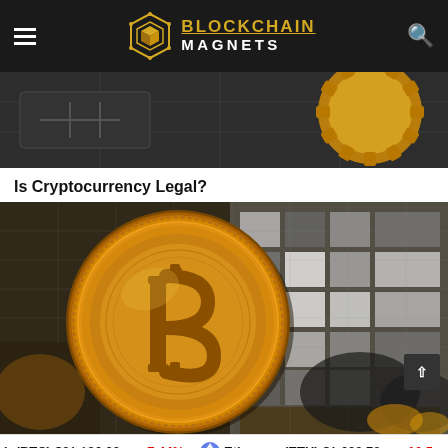BLOCKCHAIN MAGNETS
[Figure (photo): Close-up of gold-colored circuit board components and gold coin-like objects on dark background]
Is Cryptocurrency Legal?
[Figure (photo): Golden Bitcoin coin in foreground with blurred background showing pixelated grey pattern and dark figures]
Bitcoin(BTC) $21,136.00 ▼ -7.44%   Ethereum(ETH) $1,630.70 ▼ -10.5